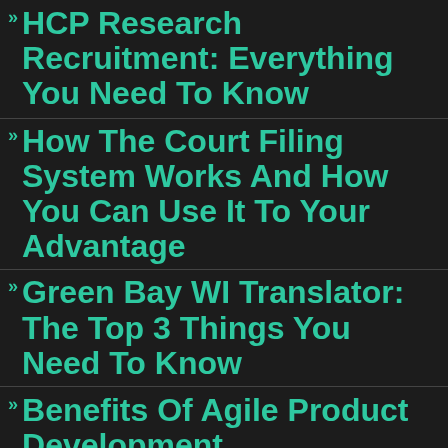HCP Research Recruitment: Everything You Need To Know
How The Court Filing System Works And How You Can Use It To Your Advantage
Green Bay WI Translator: The Top 3 Things You Need To Know
Benefits Of Agile Product Development
Latino Politics In Denver: A Look At The Key Issues